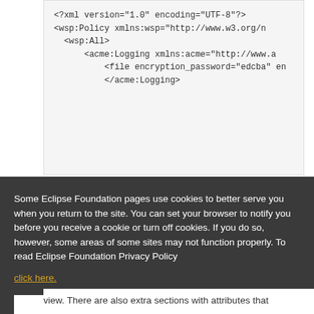[Figure (screenshot): Code block showing XML snippet: <?xml version='1.0' encoding='UTF-8'?> with wsp:Policy, wsp:All, acme:Logging elements visible, partially cut off on right side]
Some Eclipse Foundation pages use cookies to better serve you when you return to the site. You can set your browser to notify you before you receive a cookie or turn off cookies. If you do so, however, some areas of some sites may not function properly. To read Eclipse Foundation Privacy Policy click here.
view. There are also extra sections with attributes that